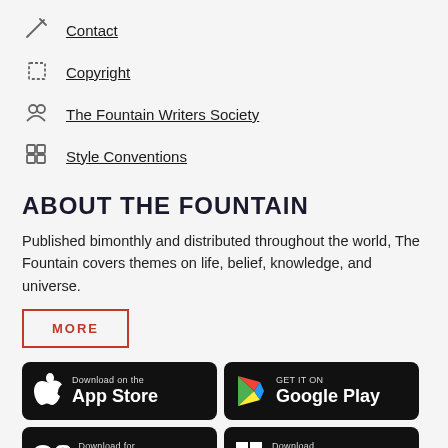Contact
Copyright
The Fountain Writers Society
Style Conventions
ABOUT THE FOUNTAIN
Published bimonthly and distributed throughout the world, The Fountain covers themes on life, belief, knowledge, and universe.
MORE
[Figure (logo): Download on the App Store badge (black background, Apple logo)]
[Figure (logo): GET IT ON Google Play badge (black background, Google Play triangle logo)]
[Figure (logo): Download for Mac OS badge (black background, OS text)]
[Figure (logo): Download Windows App badge (black background, Windows logo)]